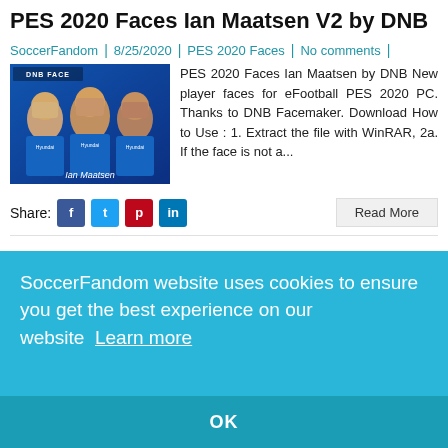PES 2020 Faces Ian Maatsen V2 by DNB
SoccerFandom | 8/25/2020 | PES 2020 Faces | No comments
[Figure (photo): DNB Face image showing Ian Maatsen player face for PES 2020]
PES 2020 Faces Ian Maatsen by DNB New player faces for eFootball PES 2020 PC. Thanks to DNB Facemaker. Download How to Use : 1. Extract the file with WinRAR, 2a. If the face is not a...
Share: [Facebook] [Twitter] [Pinterest] [LinkedIn]   Read More
PES 2020 Faces Fernando Moreno by Ped...
SoccerFandom
[Figure (screenshot): Second article thumbnail image with purple background]
n ...c. w
Share
SoccerFandom website uses cookies to ensure you get the best experience on our website  Learn more
OK